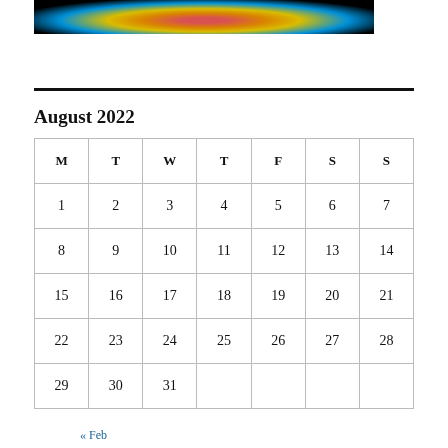[Figure (photo): Dark banner image with colorful radial glow (red, orange, yellow, blue) on black background]
| M | T | W | T | F | S | S |
| --- | --- | --- | --- | --- | --- | --- |
| 1 | 2 | 3 | 4 | 5 | 6 | 7 |
| 8 | 9 | 10 | 11 | 12 | 13 | 14 |
| 15 | 16 | 17 | 18 | 19 | 20 | 21 |
| 22 | 23 | 24 | 25 | 26 | 27 | 28 |
| 29 | 30 | 31 |  |  |  |  |
« Feb